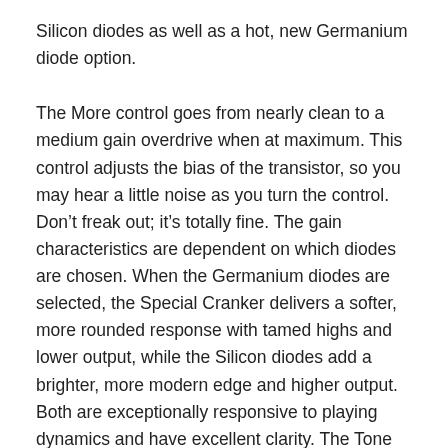Silicon diodes as well as a hot, new Germanium diode option.
The More control goes from nearly clean to a medium gain overdrive when at maximum. This control adjusts the bias of the transistor, so you may hear a little noise as you turn the control. Don’t freak out; it’s totally fine. The gain characteristics are dependent on which diodes are chosen. When the Germanium diodes are selected, the Special Cranker delivers a softer, more rounded response with tamed highs and lower output, while the Silicon diodes add a brighter, more modern edge and higher output. Both are exceptionally responsive to playing dynamics and have excellent clarity. The Tone control gives the user full command over treble frequencies, cutting the highs when